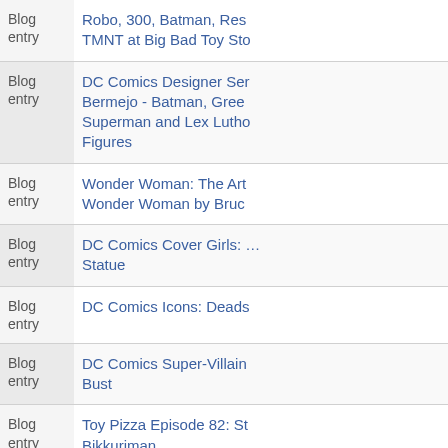| Type | Title |
| --- | --- |
| Blog entry | Robo, 300, Batman, Res… TMNT at Big Bad Toy Sto… |
| Blog entry | DC Comics Designer Ser… Bermejo - Batman, Gree… Superman and Lex Lutho… Figures |
| Blog entry | Wonder Woman: The Art… Wonder Woman by Bruc… |
| Blog entry | DC Comics Cover Girls: … Statue |
| Blog entry | DC Comics Icons: Deads… |
| Blog entry | DC Comics Super-Villain… Bust |
| Blog entry | Toy Pizza Episode 82: St… Bikkuriman |
| Blog entry | DC Comics Green Lante… Anniversary Sweepstake… |
| Blog entry | Toy Recalls for Week of … |